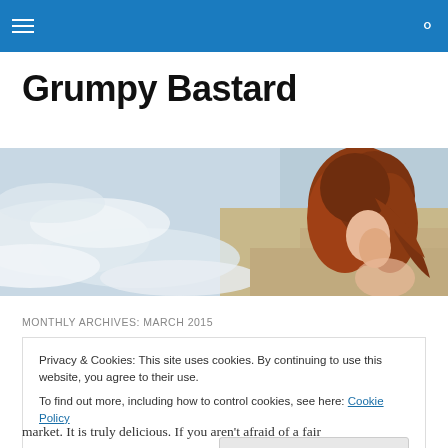Grumpy Bastard — navigation bar with hamburger menu and search icon
Grumpy Bastard
[Figure (photo): Wide banner photo of a red-haired woman at the beach with ocean waves]
MONTHLY ARCHIVES: MARCH 2015
Privacy & Cookies: This site uses cookies. By continuing to use this website, you agree to their use.
To find out more, including how to control cookies, see here: Cookie Policy
Close and accept
market. It is truly delicious. If you aren't afraid of a fair